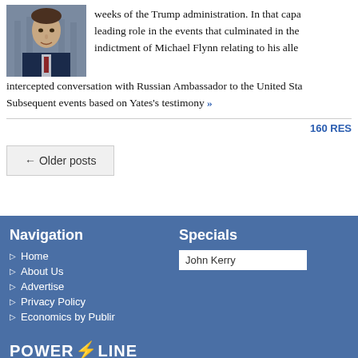[Figure (photo): Photo of John Kerry in a suit against a blurred background]
weeks of the Trump administration. In that capa leading role in the events that culminated in the indictment of Michael Flynn relating to his alle intercepted conversation with Russian Ambassador to the United Sta Subsequent events based on Yates's testimony »
160 RES
← Older posts
Navigation
Home
About Us
Advertise
Privacy Policy
Economics by Publir
Specials
John Kerry
POWERLINE